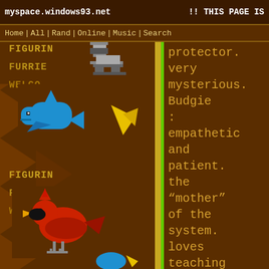myspace.windows93.net  !! THIS PAGE IS
Home | All | Rand | Online | Music | Search
protector. very mysterious. Budgie : empathetic and patient. the "mother" of the system. loves teaching and comforting
[Figure (illustration): Pixel art sidebar with blue whale/dolphin icon and red cardinal bird icon on brown background with gold text labels: FIGURIN, FURRIE, WELCO]
FIGURIN FURRIE WELCO